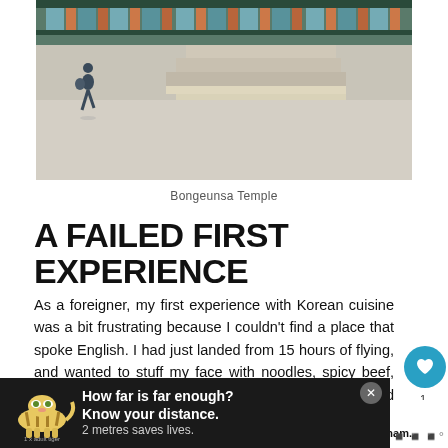[Figure (photo): Exterior of Bongeunsa Temple showing stone steps, traditional decorated eaves with colorful paint, and a person walking across the forecourt.]
Bongeunsa Temple
A FAILED FIRST EXPERIENCE
As a foreigner, my first experience with Korean cuisine was a bit frustrating because I couldn't find a place that spoke English. I had just landed from 15 hours of flying, and wanted to stuff my face with noodles, spicy beef, and Korean delicacies that I didn't even know existed yet.
[Figure (infographic): Partial circular infographic with concentric arcs in teal/blue and gold colors, partially visible at the bottom of the article.]
[Figure (photo): WHAT'S NEXT panel thumbnail showing K-pop performers on a dark stage with red lighting.]
[Figure (infographic): Ad banner with a tiger illustration and text: How far is far enough? Know your distance. 2 metres saves lives. 1 x adult tiger.]